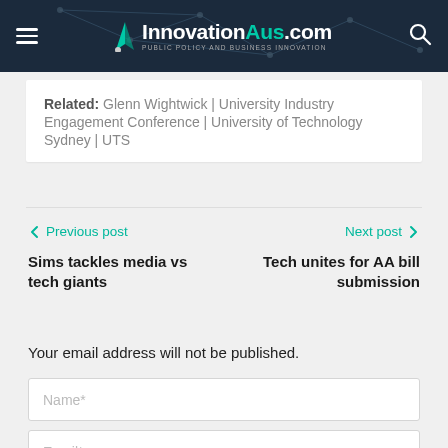InnovationAus.com – PUBLIC POLICY AND BUSINESS INNOVATION
Related: Glenn Wightwick | University Industry Engagement Conference | University of Technology Sydney | UTS
← Previous post
Next post →
Sims tackles media vs tech giants
Tech unites for AA bill submission
Your email address will not be published.
Name*
Email*